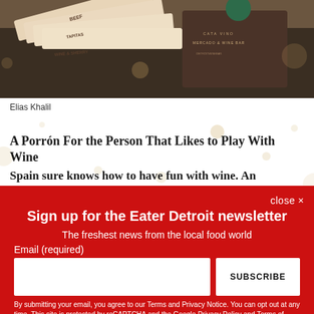[Figure (photo): Restaurant menus fanned out on a table with a Cata Vino Mercado & Wine Bar menu visible]
Elias Khalil
A Porrón For the Person That Likes to Play With Wine
Spain sure knows how to have fun with wine. An oenophile
close ×
Sign up for the Eater Detroit newsletter
The freshest news from the local food world
Email (required)
SUBSCRIBE
By submitting your email, you agree to our Terms and Privacy Notice. You can opt out at any time. This site is protected by reCAPTCHA and the Google Privacy Policy and Terms of Service apply.